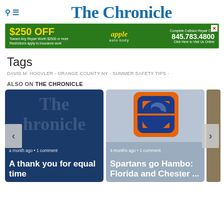The Chronicle
[Figure (infographic): Advertisement banner: $250 OFF apple auto-body. Complete Collision Repair Center. 845.783.4800. Click Here to Visit Us Online. Toward Any Repair Worth $2500 or more. Restrictions apply to insurance work.]
Tags
DAVID M. HOOVLER - ORANGE COUNTY NY - SUMMER SAFETY TIPS -
ALSO ON THE CHRONICLE
[Figure (screenshot): Card 1: The Chronicle logo watermark on dark blue background. Text: a month ago • 1 comment. Headline: A thank you for equal time]
[Figure (screenshot): Card 2: Spartans mascot logo on grey background. Text: 4 months ago • 1 comment. Headline: Spartans go Hambo: Florida and Chester ...]